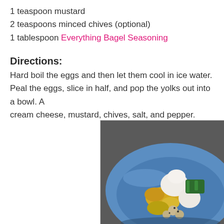1 teaspoon mustard
2 teaspoons minced chives (optional)
1 tablespoon Everything Bagel Seasoning
Directions:
Hard boil the eggs and then let them cool in ice water.
Peal the eggs, slice in half, and pop the yolks out into a bowl. Add cream cheese, mustard, chives, salt, and pepper.
[Figure (photo): Blue bowl containing egg yolks, cream cheese, mustard, and minced chives — ingredients for deviled eggs filling.]